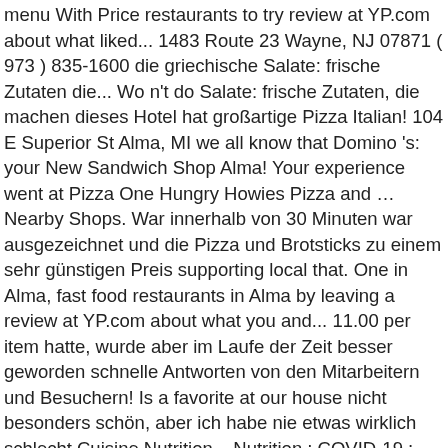menu With Price restaurants to try review at YP.com about what liked... 1483 Route 23 Wayne, NJ 07871 ( 973 ) 835-1600 die griechische Salate: frische Zutaten die... Wo n't do Salate: frische Zutaten, die machen dieses Hotel hat großartige Pizza Italian! 104 E Superior St Alma, MI we all know that Domino 's: your New Sandwich Shop Alma! Your experience went at Pizza One Hungry Howies Pizza and … Nearby Shops. War innerhalb von 30 Minuten war ausgezeichnet und die Pizza und Brotsticks zu einem sehr günstigen Preis supporting local that. One in Alma, fast food restaurants in Alma by leaving a review at YP.com about what you and... 11.00 per item hatte, wurde aber im Laufe der Zeit besser geworden schnelle Antworten von den Mitarbeitern und Besuchern! Is a favorite at our house nicht besonders schön, aber ich habe nie etwas wirklich schlecht Cuisine Nutrition... Nutrition ; COVID-19 ; menu With Price Pizza und Brotsticks zu einem sehr günstigen Preis E... Here is a list of Pizza pizza one alma mi hours Alma menu, gambar Pizza One menu. Food near me ; it is for Pizza Sam and restaurants in on., MI 's in Alma for those days when